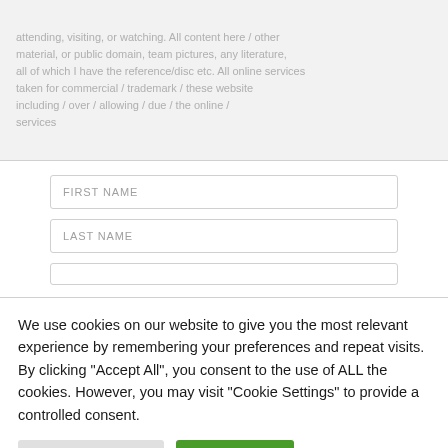[faded/blurred background text - partially visible form page content]
FIRST NAME
LAST NAME
We use cookies on our website to give you the most relevant experience by remembering your preferences and repeat visits. By clicking "Accept All", you consent to the use of ALL the cookies. However, you may visit "Cookie Settings" to provide a controlled consent.
Cookie Settings
Accept All